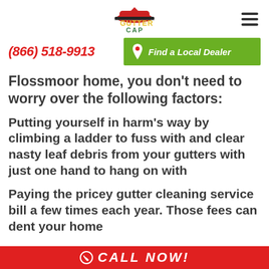[Figure (logo): Gutter Cap logo with hat graphic]
(866) 518-9913
Find a Local Dealer
Flossmoor home, you don't need to worry over the following factors:
Putting yourself in harm's way by climbing a ladder to fuss with and clear nasty leaf debris from your gutters with just one hand to hang on with
Paying the pricey gutter cleaning service bill a few times each year. Those fees can dent your home
CALL NOW!